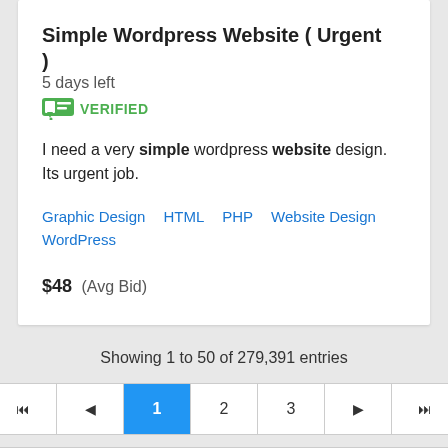Simple Wordpress Website ( Urgent )   5 days left
VERIFIED
I need a very simple wordpress website design. Its urgent job.
Graphic Design   HTML   PHP   Website Design   WordPress
$48  (Avg Bid)
Showing 1 to 50 of 279,391 entries
[Figure (other): Pagination controls showing page 1 active (blue), with first, previous, page 1, 2, 3, next, last buttons]